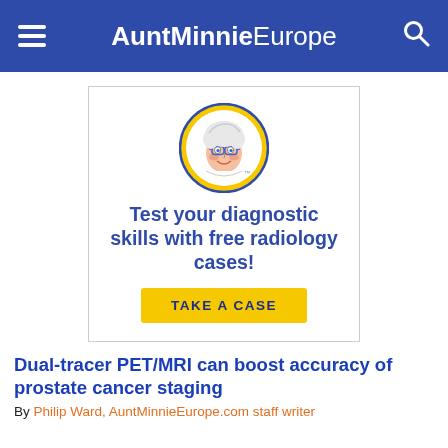AuntMinnieEurope
[Figure (illustration): AuntMinnie mascot logo: cartoon elderly woman with white hair and glasses inside a yellow circle with blue border, above bold text 'Test your diagnostic skills with free radiology cases!' and a yellow 'TAKE A CASE' button]
Dual-tracer PET/MRI can boost accuracy of prostate cancer staging
By Philip Ward, AuntMinnieEurope.com staff writer